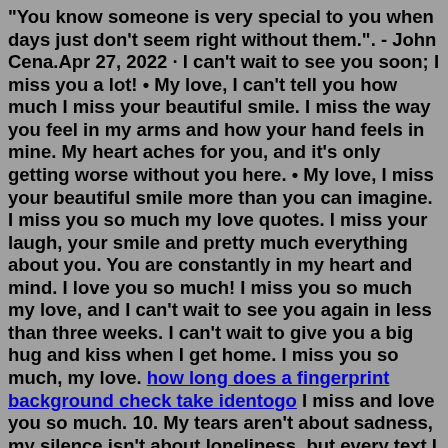"You know someone is very special to you when days just don't seem right without them.". - John Cena.Apr 27, 2022 · I can't wait to see you soon; I miss you a lot! • My love, I can't tell you how much I miss your beautiful smile. I miss the way you feel in my arms and how your hand feels in mine. My heart aches for you, and it's only getting worse without you here. • My love, I miss your beautiful smile more than you can imagine. I miss you so much my love quotes. I miss your laugh, your smile and pretty much everything about you. You are constantly in my heart and mind. I love you so much! I miss you so much my love, and I can't wait to see you again in less than three weeks. I can't wait to give you a big hug and kiss when I get home. I miss you so much, my love. how long does a fingerprint background check take identogo I miss and love you so much. 10. My tears aren't about sadness, my silence isn't about loneliness, but every text I send to you is a sign that I miss you badly. 11. Even if I don't see you when I wish to, I'll